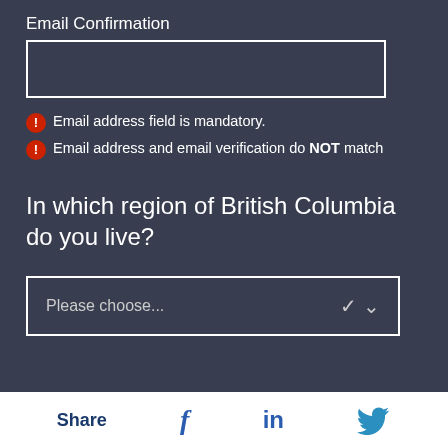Email Confirmation
[Figure (other): Empty text input field with white border for email confirmation]
Email address field is mandatory.
Email address and email verification do NOT match
In which region of British Columbia do you live?
[Figure (other): Dropdown select field with 'Please choose...' placeholder and chevron arrow]
Share [Facebook icon] [LinkedIn icon] [Twitter icon]